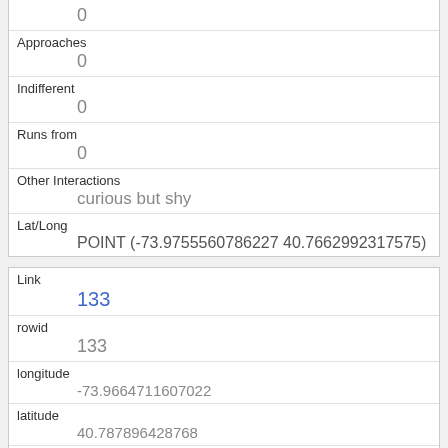|  | 0 |
| Approaches | 0 |
| Indifferent | 0 |
| Runs from | 0 |
| Other Interactions | curious but shy |
| Lat/Long | POINT (-73.9755560786227 40.7662992317575) |
| Link | 133 |
| rowid | 133 |
| longitude | -73.9664711607022 |
| latitude | 40.787896428768 |
| Unique Squirrel ID |  |